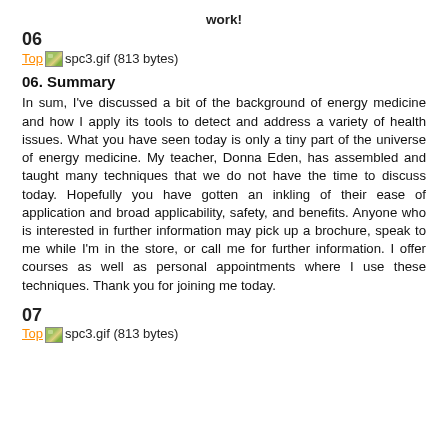work!
06
Top spc3.gif (813 bytes)
06. Summary
In sum, I've discussed a bit of the background of energy medicine and how I apply its tools to detect and address a variety of health issues. What you have seen today is only a tiny part of the universe of energy medicine. My teacher, Donna Eden, has assembled and taught many techniques that we do not have the time to discuss today. Hopefully you have gotten an inkling of their ease of application and broad applicability, safety, and benefits. Anyone who is interested in further information may pick up a brochure, speak to me while I'm in the store, or call me for further information. I offer courses as well as personal appointments where I use these techniques. Thank you for joining me today.
07
Top spc3.gif (813 bytes)